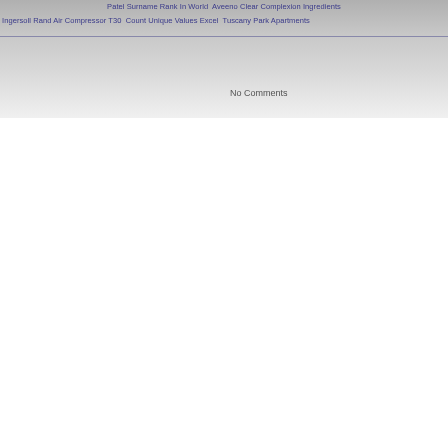Patel Surname Rank In World  Aveeno Clear Complexion Ingredients
Ingersoll Rand Air Compressor T30  Count Unique Values Excel  Tuscany Park Apartments
No Comments